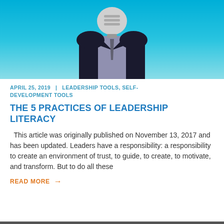[Figure (illustration): A figure of a person in a dark business suit with a lightbulb for a head, set against a bright blue gradient background. Only the torso and below the head are fully visible.]
APRIL 25, 2019  |  LEADERSHIP TOOLS, SELF-DEVELOPMENT TOOLS
THE 5 PRACTICES OF LEADERSHIP LITERACY
This article was originally published on November 13, 2017 and has been updated. Leaders have a responsibility: a responsibility to create an environment of trust, to guide, to create, to motivate, and transform. But to do all these
READ MORE  →